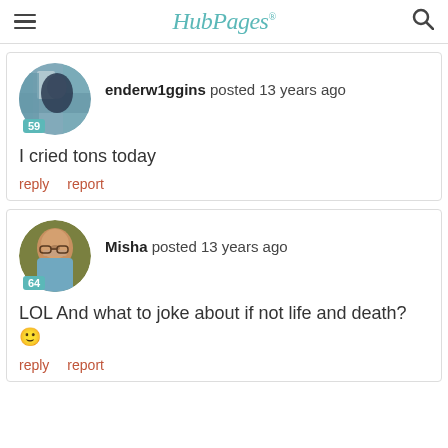HubPages
[Figure (photo): User avatar for enderw1ggins showing a person near a building]
enderw1ggins posted 13 years ago
I cried tons today
reply   report
[Figure (photo): User avatar for Misha showing a man with glasses]
Misha posted 13 years ago
LOL And what to joke about if not life and death? 🙂
reply   report